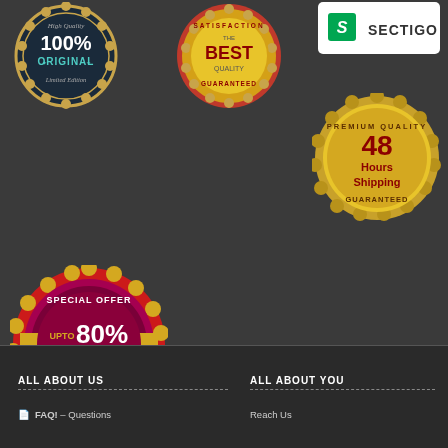[Figure (illustration): Dark navy badge with gold scalloped border: '100% ORIGINAL' in blue, 'High Quality' and 'Limited Edition' text, stars.]
[Figure (illustration): Gold badge with red ribbon: 'SATISFACTION THE BEST QUALITY GUARANTEED' text in gold and dark red.]
[Figure (logo): Sectigo SSL certificate badge: green icon with S, text SECTIGO in dark letters on white background.]
[Figure (illustration): Gold scalloped badge: 'PREMIUM QUALITY 48 Hours Shipping GUARANTEED' in dark red on gold.]
[Figure (illustration): Red and magenta scalloped badge: 'SPECIAL OFFER UPTO 80% OFF BUY NOW!' in gold and white on red/magenta.]
ALL ABOUT US
ALL ABOUT YOU
FAQ! – Questions
Reach Us